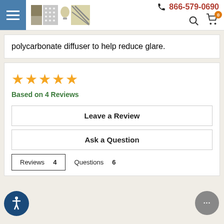866-579-0690 | warehouse-lighting.com
polycarbonate diffuser to help reduce glare.
Based on 4 Reviews
Leave a Review
Ask a Question
Reviews 4   Questions 6